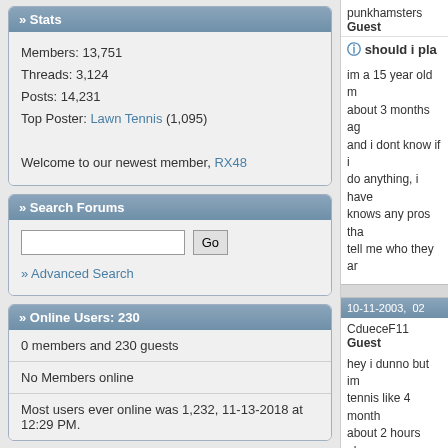» Stats
Members: 13,751
Threads: 3,124
Posts: 14,231
Top Poster: Lawn Tennis (1,095)
Welcome to our newest member, RX48
» Search Forums
» Advanced Search
» Online Users: 230
0 members and 230 guests
No Members online
Most users ever online was 1,232, 11-13-2018 at 12:29 PM.
punkhamsters
Guest
should i pla
im a 15 year old m...about 3 months ag...and i dont know if i...do anything, i have...knows any pros tha...tell me who they ar
10-11-2003,  02
CdueceF11
Guest
hey i dunno but im...tennis like 4 month...about 2 hours almo...improved alot and t...lessons...and next...college team...so i...from...but i love it...